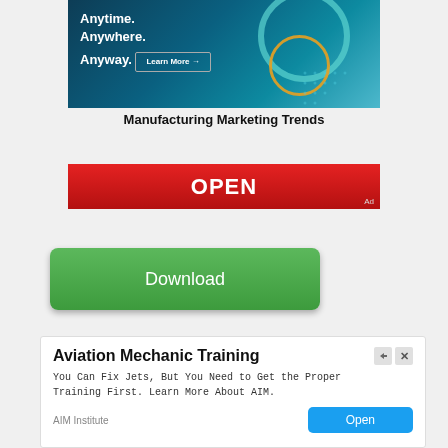[Figure (photo): Advertisement banner for Manufacturing Marketing Trends showing a woman in teal shirt with text Anytime. Anywhere. Anyway. and a Learn More button on dark teal background]
Manufacturing Marketing Trends
[Figure (other): Red banner button with white text OPEN and Ad label]
[Figure (other): Green rounded button with white text Download]
[Figure (other): Advertisement for Aviation Mechanic Training by AIM Institute with text You Can Fix Jets, But You Need to Get the Proper Training First. Learn More About AIM. and a blue Open button]